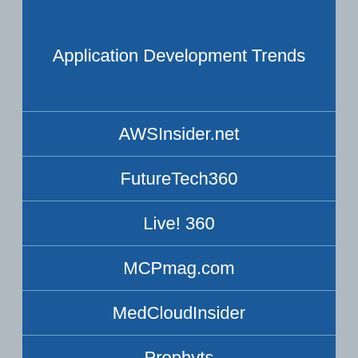Application Development Trends
AWSInsider.net
FutureTech360
Live! 360
MCPmag.com
MedCloudInsider
Prophyts
Pure AI
Redmond